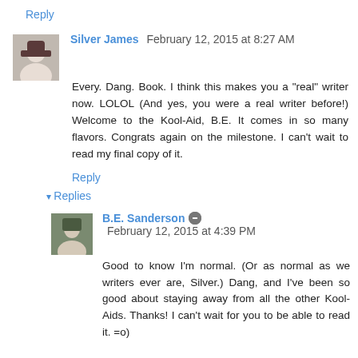Reply
Silver James  February 12, 2015 at 8:27 AM
Every. Dang. Book. I think this makes you a "real" writer now. LOLOL (And yes, you were a real writer before!) Welcome to the Kool-Aid, B.E. It comes in so many flavors. Congrats again on the milestone. I can't wait to read my final copy of it.
Reply
Replies
B.E. Sanderson  February 12, 2015 at 4:39 PM
Good to know I'm normal. (Or as normal as we writers ever are, Silver.) Dang, and I've been so good about staying away from all the other Kool-Aids. Thanks! I can't wait for you to be able to read it. =o)